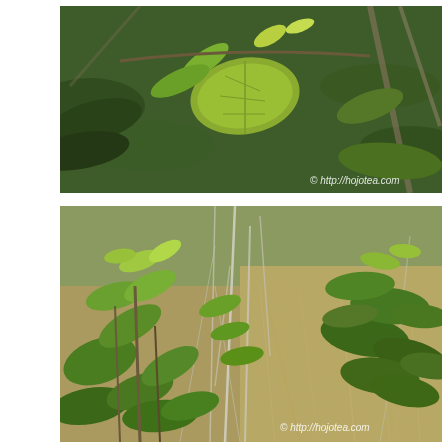[Figure (photo): Close-up photograph of tea plant leaves and branches. Green leaves of various sizes visible against a blurred background of more foliage and branches. Watermark reads '© http://hojotea.com'.]
[Figure (photo): Wide-angle photograph of wild tea plants growing in a natural setting with dry grass and bare branches in the background. Green leafy tea bushes with new growth visible. Watermark reads '© http://hojotea.com'.]